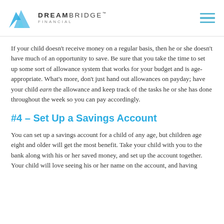DREAMBRIDGE FINANCIAL
If your child doesn't receive money on a regular basis, then he or she doesn't have much of an opportunity to save. Be sure that you take the time to set up some sort of allowance system that works for your budget and is age-appropriate. What's more, don't just hand out allowances on payday; have your child earn the allowance and keep track of the tasks he or she has done throughout the week so you can pay accordingly.
#4 – Set Up a Savings Account
You can set up a savings account for a child of any age, but children age eight and older will get the most benefit. Take your child with you to the bank along with his or her saved money, and set up the account together. Your child will love seeing his or her name on the account, and having